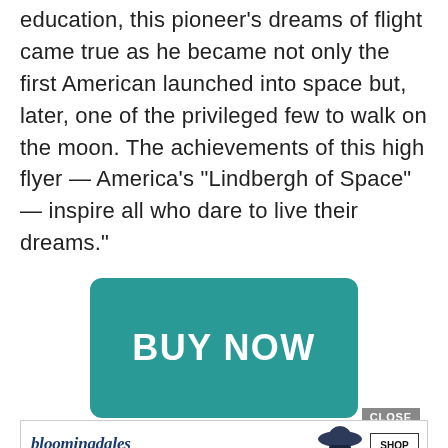education, this pioneer's dreams of flight came true as he became not only the first American launched into space but, later, one of the privileged few to walk on the moon. The achievements of this high flyer — America's "Lindbergh of Space" — inspire all who dare to live their dreams."
[Figure (other): Teal rounded rectangle button with white bold text reading 'BUY NOW']
[Figure (other): Bloomingdale's advertisement banner with logo, tagline 'View Today's Top Deals!', woman in wide-brim hat, and 'SHOP NOW >' button]